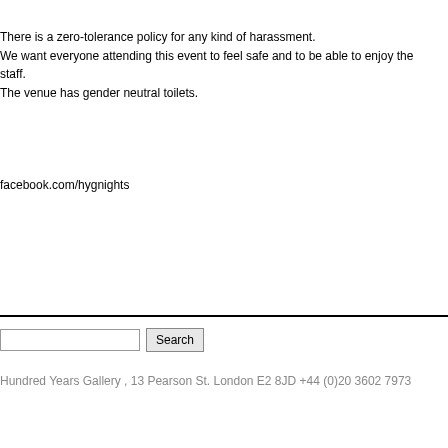There is a zero-tolerance policy for any kind of harassment. We want everyone attending this event to feel safe and to be able to enjoy the staff. The venue has gender neutral toilets.
facebook.com/hygnights
Search
Hundred Years Gallery , 13 Pearson St. London E2 8JD +44 (0)20 3602 7973